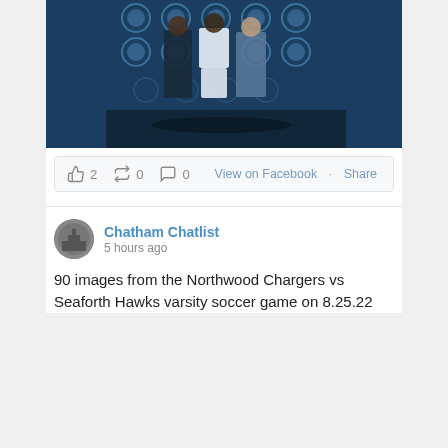[Figure (photo): Three people standing in front of a dark blue background with circular light panels, wearing basketball/athletic attire]
2  0  0
View on Facebook · Share
Chatham Chatlist
5 hours ago
90 images from the Northwood Chargers vs Seaforth Hawks varsity soccer game on 8.25.22